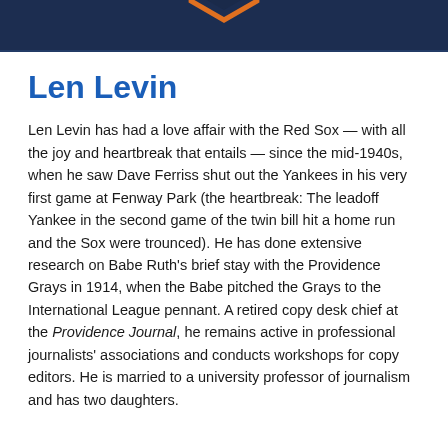[Figure (illustration): Dark navy blue header banner with a partially visible hexagonal logo/badge in orange and navy at the top center]
Len Levin
Len Levin has had a love affair with the Red Sox — with all the joy and heartbreak that entails — since the mid-1940s, when he saw Dave Ferriss shut out the Yankees in his very first game at Fenway Park (the heartbreak: The leadoff Yankee in the second game of the twin bill hit a home run and the Sox were trounced). He has done extensive research on Babe Ruth's brief stay with the Providence Grays in 1914, when the Babe pitched the Grays to the International League pennant. A retired copy desk chief at the Providence Journal, he remains active in professional journalists' associations and conducts workshops for copy editors. He is married to a university professor of journalism and has two daughters.